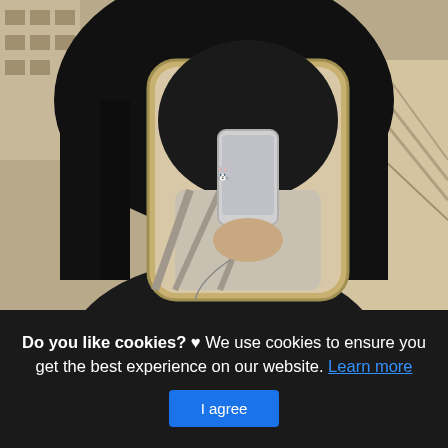[Figure (photo): A person taking a mirror selfie with a smartphone, holding a rounded rectangular mirror. The person has long dark hair and is wearing dark clothing. The background shows stairs and a building. The scene has a warm, slightly desaturated tone.]
Do you like cookies? ♥ We use cookies to ensure you get the best experience on our website. Learn more
I agree